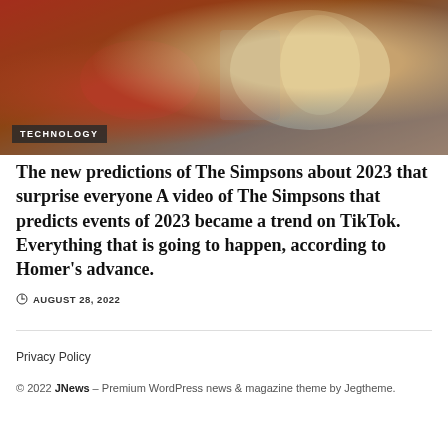[Figure (photo): Screenshot of a webpage showing an animated image (The Simpsons character in armor) with a TECHNOLOGY badge overlay in the bottom left of the image thumbnail]
The new predictions of The Simpsons about 2023 that surprise everyone A video of The Simpsons that predicts events of 2023 became a trend on TikTok. Everything that is going to happen, according to Homer’s advance.
AUGUST 28, 2022
Privacy Policy
© 2022 JNews – Premium WordPress news & magazine theme by Jegtheme.